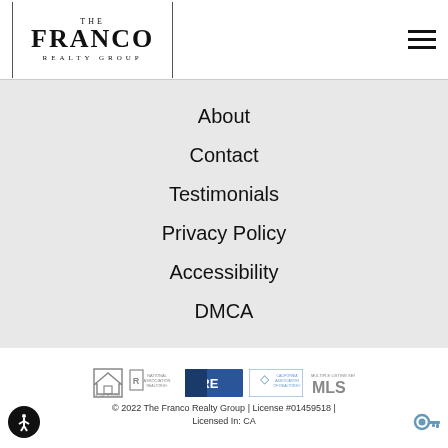THE FRANCO REALTY GROUP
About
Contact
Testimonials
Privacy Policy
Accessibility
DMCA
© 2022 The Franco Realty Group | License #01459518 | Licensed In: CA